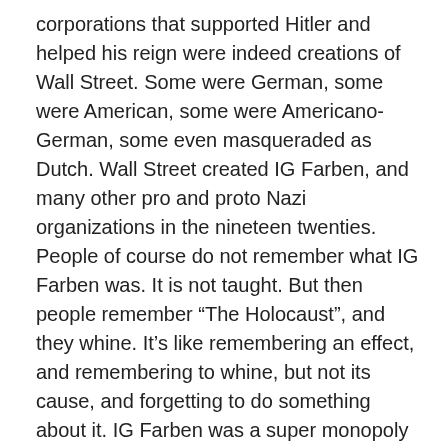corporations that supported Hitler and helped his reign were indeed creations of Wall Street. Some were German, some were American, some were Americano-German, some even masqueraded as Dutch. Wall Street created IG Farben, and many other pro and proto Nazi organizations in the nineteen twenties. People of course do not remember what IG Farben was. It is not taught. But then people remember “The Holocaust”, and they whine. It’s like remembering an effect, and remembering to whine, but not its cause, and forgetting to do something about it. IG Farben was a super monopoly of all German chemical companies that was organized to secretly cooperated with the American oil companies (so as to turn around anti monopoly laws by going Nazi). It was like that, all over. Many of the involved companies changed their names, so they can claim they are not the same. For example